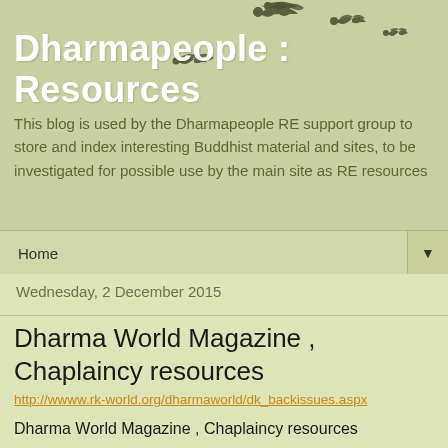Dharmapeople : Resources
This blog is used by the Dharmapeople RE support group to store and index interesting Buddhist material and sites, to be investigated for possible use by the main site as RE resources
Home
Wednesday, 2 December 2015
Dharma World Magazine , Chaplaincy resources
http://wwww.rk-world.org/dharmaworld/dk_backissues.aspx
Dharma World Magazine , Chaplaincy resources